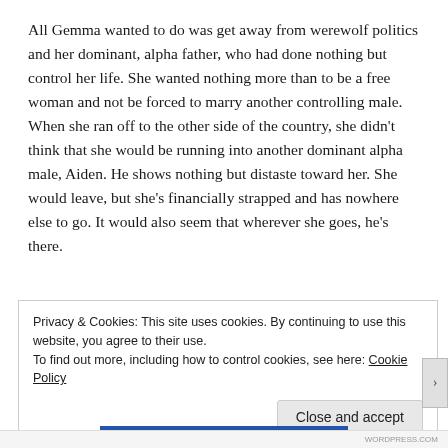All Gemma wanted to do was get away from werewolf politics and her dominant, alpha father, who had done nothing but control her life. She wanted nothing more than to be a free woman and not be forced to marry another controlling male. When she ran off to the other side of the country, she didn't think that she would be running into another dominant alpha male, Aiden. He shows nothing but distaste toward her. She would leave, but she's financially strapped and has nowhere else to go. It would also seem that wherever she goes, he's there.
Privacy & Cookies: This site uses cookies. By continuing to use this website, you agree to their use.
To find out more, including how to control cookies, see here: Cookie Policy
Close and accept
WORDPRESS.COM